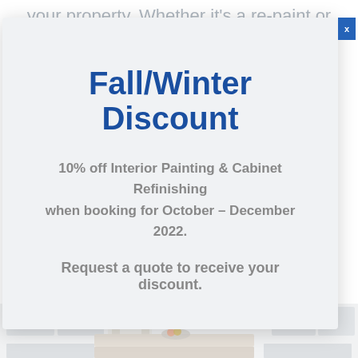your property. Whether it's a re-paint or a new build, at Point West Painting we will ensure you have a clean, bright, and
Fall/Winter Discount
10% off Interior Painting & Cabinet Refinishing when booking for October – December 2022.
Request a quote to receive your discount.
[Figure (photo): Kitchen interior with white/grey cabinets and a kitchen island, lightly washed out photo.]